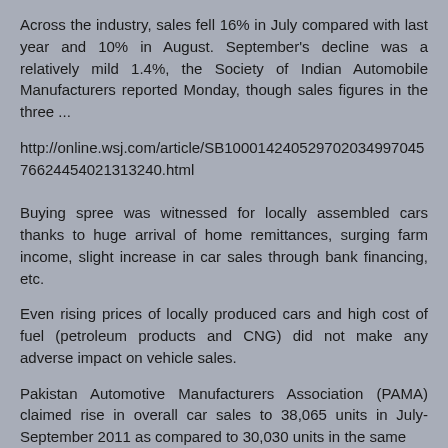Across the industry, sales fell 16% in July compared with last year and 10% in August. September's decline was a relatively mild 1.4%, the Society of Indian Automobile Manufacturers reported Monday, though sales figures in the three ...
http://online.wsj.com/article/SB10001424052970203499704576624454021313240.html
Buying spree was witnessed for locally assembled cars thanks to huge arrival of home remittances, surging farm income, slight increase in car sales through bank financing, etc.
Even rising prices of locally produced cars and high cost of fuel (petroleum products and CNG) did not make any adverse impact on vehicle sales.
Pakistan Automotive Manufacturers Association (PAMA) claimed rise in overall car sales to 38,065 units in July-September 2011 as compared to 30,030 units in the same